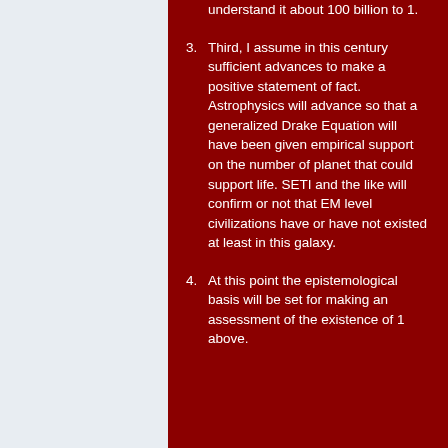understand it about 100 billion to 1.
3. Third, I assume in this century sufficient advances to make a positive statement of fact. Astrophysics will advance so that a generalized Drake Equation will have been given empirical support on the number of planet that could support life. SETI and the like will confirm or not that EM level civilizations have or have not existed at least in this galaxy.
4. At this point the epistemological basis will be set for making an assessment of the existence of 1 above.